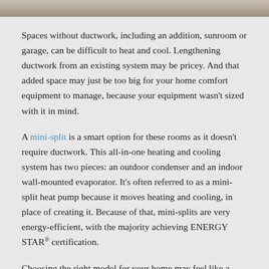[Figure (photo): Partial image strip at the top of the page showing a cropped interior room photo]
Spaces without ductwork, including an addition, sunroom or garage, can be difficult to heat and cool. Lengthening ductwork from an existing system may be pricey. And that added space may just be too big for your home comfort equipment to manage, because your equipment wasn't sized with it in mind.
A mini-split is a smart option for these rooms as it doesn't require ductwork. This all-in-one heating and cooling system has two pieces: an outdoor condenser and an indoor wall-mounted evaporator. It's often referred to as a mini-split heat pump because it moves heating and cooling, in place of creating it. Because of that, mini-splits are very energy-efficient, with the majority achieving ENERGY STAR® certification.
Choosing the right model for your home may feel like a